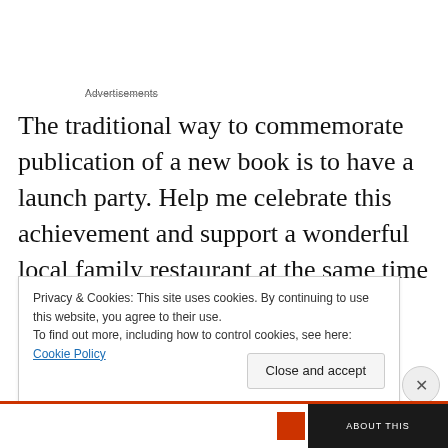Advertisements
The traditional way to commemorate publication of a new book is to have a launch party. Help me celebrate this achievement and support a wonderful local family restaurant at the same time on Friday, August 12. We’ll be at Terranova’s Italian Restaurant in Huntsville from 6:00 to 8:00 p.m. enjoying fantastic cuisine, giving away some great prizes, and autographing books.
Privacy & Cookies: This site uses cookies. By continuing to use this website, you agree to their use.
To find out more, including how to control cookies, see here: Cookie Policy